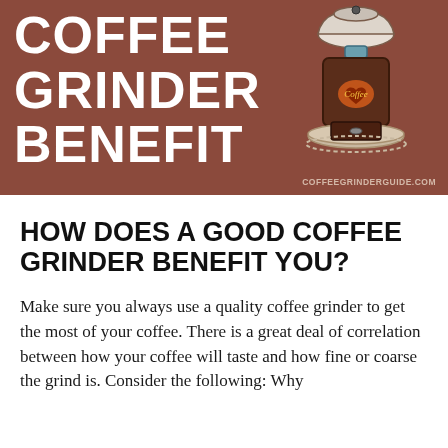[Figure (illustration): Brown header banner with large white bold text reading COFFEE GRINDER BENEFIT on the left, and an illustrated vintage manual coffee grinder on the right, with website label COFFEEGRINDERGUIDE.COM at bottom right.]
HOW DOES A GOOD COFFEE GRINDER BENEFIT YOU?
Make sure you always use a quality coffee grinder to get the most of your coffee. There is a great deal of correlation between how your coffee will taste and how fine or coarse the grind is. Consider the following: Why